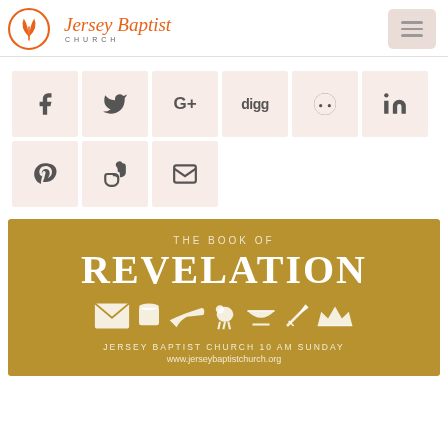[Figure (logo): Jersey Baptist Church logo with orange flame/leaf icon and script text]
[Figure (infographic): Social sharing buttons: Facebook, Twitter, Google+, Digg, Reddit, LinkedIn, Pinterest, StumbleUpon, and Email]
[Figure (infographic): Gold banner image for The Book of Revelation series at Jersey Baptist Church with icons (envelope, scroll, trumpet, lamb, bowl, sword, crown) and text: THE BOOK OF REVELATION, JERSEY BAPTIST CHURCH 10 AM SUNDAY, www.jerseybaptistchurch.org]